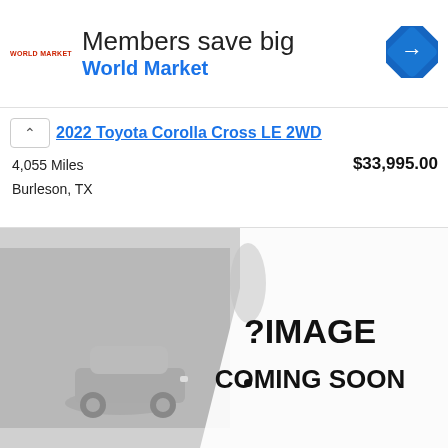[Figure (screenshot): World Market advertisement banner with logo, 'Members save big' headline, 'World Market' subheadline in blue, and a blue navigation icon on right.]
2022 Toyota Corolla Cross LE 2WD
4,055 Miles
Burleson, TX
$33,995.00
[Figure (photo): Image Coming Soon placeholder graphic showing a car silhouette on the left and a curling page reveal with '? IMAGE COMING SOON' text on a white/gray background.]